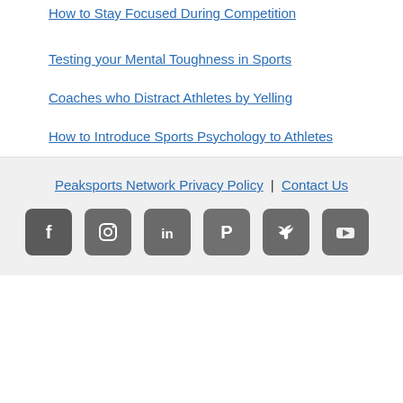How to Stay Focused During Competition
Testing your Mental Toughness in Sports
Coaches who Distract Athletes by Yelling
How to Introduce Sports Psychology to Athletes
Peaksports Network Privacy Policy | Contact Us
[Figure (other): Social media icon buttons: Facebook, Instagram, LinkedIn, Pinterest, Twitter, YouTube]